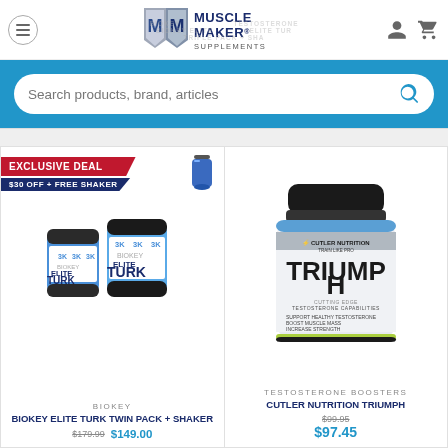[Figure (logo): Muscle Maker Supplements logo with two M letters and text]
Search products, brand, articles
[Figure (photo): Biokey Elite Turk Twin Pack + Shaker with Exclusive Deal badge: $30 OFF + Free Shaker]
BIOKEY
BIOKEY ELITE TURK TWIN PACK + SHAKER
$179.99  $149.00
[Figure (photo): Cutler Nutrition Triumph supplement bottle]
TESTOSTERONE BOOSTERS
CUTLER NUTRITION TRIUMPH
$99.95  $97.45